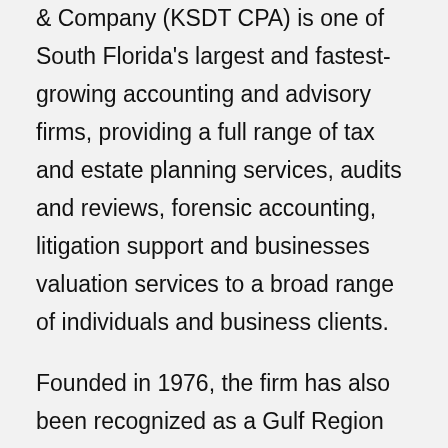& Company (KSDT CPA) is one of South Florida's largest and fastest-growing accounting and advisory firms, providing a full range of tax and estate planning services, audits and reviews, forensic accounting, litigation support and businesses valuation services to a broad range of individuals and business clients.
Founded in 1976, the firm has also been recognized as a Gulf Region Leader by Accounting Today and most recently by Forbes ‘America’s Top Recommended Tax and Accounting Firms’ for 2020.   With offices in Miami and Weston, Fla., KSDT